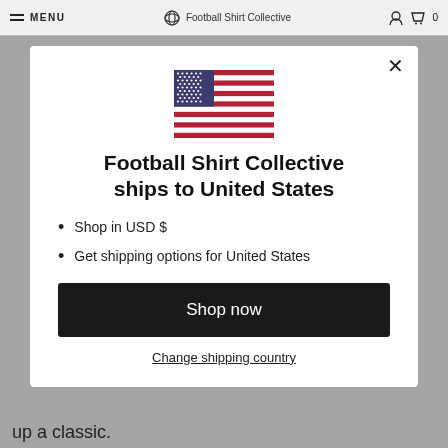MENU  Football Shirt Collective
[Figure (illustration): United States flag with blue canton with white stars, red and white horizontal stripes]
Football Shirt Collective ships to United States
Shop in USD $
Get shipping options for United States
Shop now
Change shipping country
up a classic.